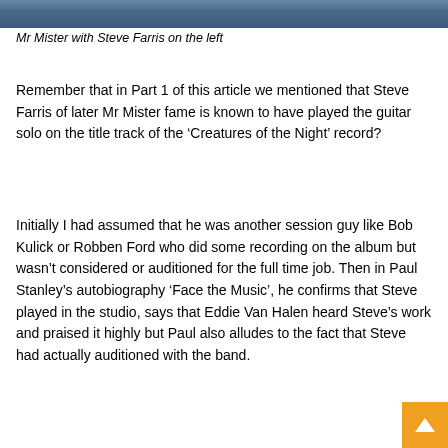[Figure (photo): Top portion of a photo showing Mr Mister band members, cropped at the top of the page]
Mr Mister with Steve Farris on the left
Remember that in Part 1 of this article we mentioned that Steve Farris of later Mr Mister fame is known to have played the guitar solo on the title track of the ‘Creatures of the Night’ record?
Initially I had assumed that he was another session guy like Bob Kulick or Robben Ford who did some recording on the album but wasn’t considered or auditioned for the full time job. Then in Paul Stanley’s autobiography ‘Face the Music’, he confirms that Steve played in the studio, says that Eddie Van Halen heard Steve’s work and praised it highly but Paul also alludes to the fact that Steve had actually auditioned with the band.